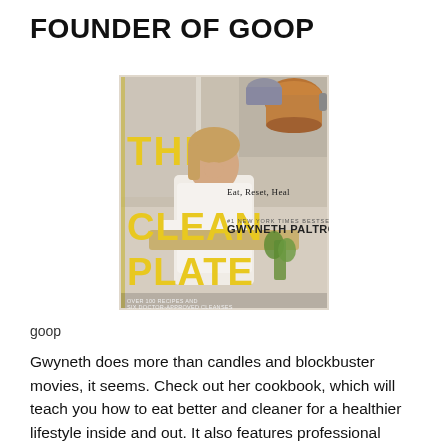FOUNDER OF GOOP
[Figure (photo): Book cover of 'The Clean Plate' by Gwyneth Paltrow — featuring yellow title text, the subtitle 'Eat, Reset, Heal', a photo of Gwyneth Paltrow in a white shirt standing at a kitchen counter, and text 'Over 100 recipes and six doctor-approved cleanses' at the bottom.]
goop
Gwyneth does more than candles and blockbuster movies, it seems. Check out her cookbook, which will teach you how to eat better and cleaner for a healthier lifestyle inside and out. It also features professional health advice from